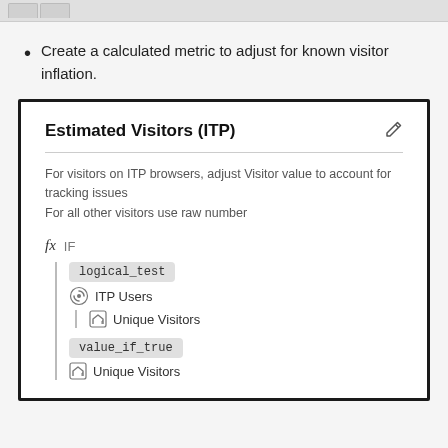Create a calculated metric to adjust for known visitor inflation.
[Figure (screenshot): Screenshot of a calculated metric editor titled 'Estimated Visitors (ITP)' showing an IF formula tree with logical_test segment ITP Users containing Unique Visitors metric, and value_if_true containing Unique Visitors metric.]